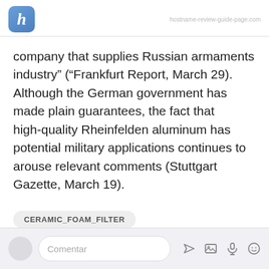h [logo] | [url blurred]
company that supplies Russian armaments industry” (“Frankfurt Report, March 29). Although the German government has made plain guarantees, the fact that high-quality Rheinfelden aluminum has potential military applications continues to arouse relevant comments (Stuttgart Gazette, March 19).
CERAMIC_FOAM_FILTER
Comentar [comment input bar with icons]